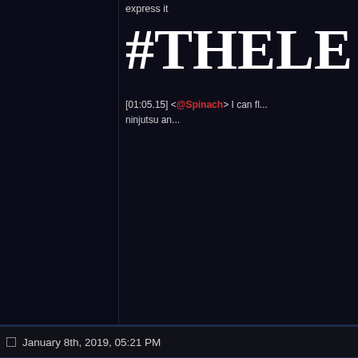express it
#THELE
[01:05.15] <@Spinach> I can fl... ninjutsu an...
January 8th, 2019, 05:21 PM
Kuroyuki •
Konkon Kitsune~
[Figure (illustration): Anime wolf-girl character with gray hair and cat/wolf ears, wearing a gray jacket and black gloves, holding a microphone]
Vier Wolff
Location: Some 20 miles f...
Phase: Morning Phase.
Date: 06.09.1994.
Weather: Sunny
This entire trip, I've had to d... repeatedly kneeing the back... the beginning of the trip, I p... like he couldn't understand m... German accent, I know that... "passable." If anything, he s... and somehow started to hit i...